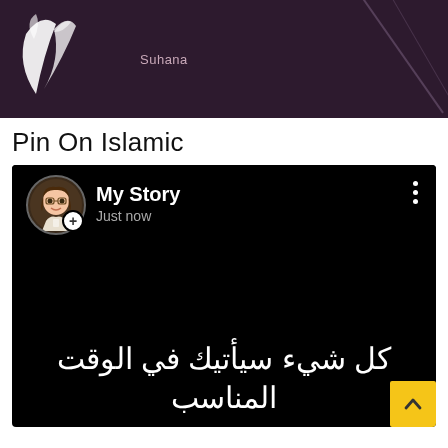[Figure (screenshot): Top banner image with dark purple background, white leaf/floral design on left, text 'Suhana' in the center, and diagonal decorative lines on the right]
Pin On Islamic
[Figure (screenshot): Snapchat-style story post with black background. Header shows avatar with plus badge, 'My Story' in bold white, 'Just now' in gray, and three-dot menu icon. Large Arabic text at the bottom reads: كل شيء سيأتيك في الوقت المناسب. Yellow up-arrow button in bottom-right corner.]